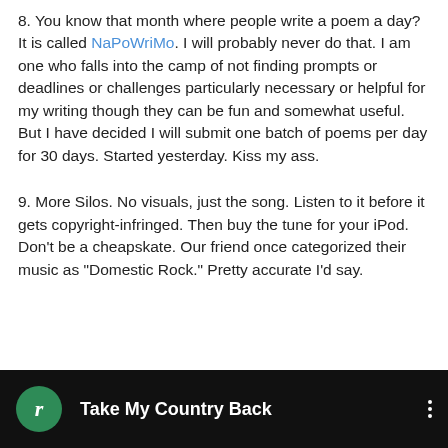8. You know that month where people write a poem a day? It is called NaPoWriMo. I will probably never do that. I am one who falls into the camp of not finding prompts or deadlines or challenges particularly necessary or helpful for my writing though they can be fun and somewhat useful. But I have decided I will submit one batch of poems per day for 30 days. Started yesterday. Kiss my ass.
9. More Silos. No visuals, just the song. Listen to it before it gets copyright-infringed. Then buy the tune for your iPod. Don't be a cheapskate. Our friend once categorized their music as "Domestic Rock." Pretty accurate I'd say.
[Figure (screenshot): Music player widget showing a dark/black background with a green circular icon containing the letter 'r' in italic, the track title 'Take My Country Back', and a three-dot menu icon on the right.]